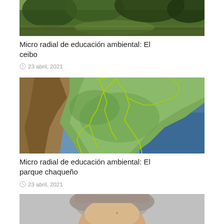[Figure (photo): Partial view of a nature/vegetation scene - top portion of a ceibo article image, cropped at top of page]
Micro radial de educación ambiental: El ceibo
23 abril, 2021
[Figure (map): Satellite/aerial map showing South America region with yellow outline highlighting the Chaco park region, with mountainous terrain on the left and blue ocean on the right]
Micro radial de educación ambiental: El parque chaqueño
23 abril, 2021
[Figure (photo): Close-up portrait photo of an elderly person with gray hair and glasses, partially visible at bottom of page]